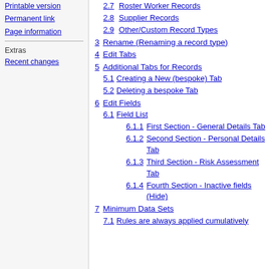Printable version
Permanent link
Page information
Extras
Recent changes
2.7 Roster Worker Records
2.8 Supplier Records
2.9 Other/Custom Record Types
3 Rename (Renaming a record type)
4 Edit Tabs
5 Additional Tabs for Records
5.1 Creating a New (bespoke) Tab
5.2 Deleting a bespoke Tab
6 Edit Fields
6.1 Field List
6.1.1 First Section - General Details Tab
6.1.2 Second Section - Personal Details Tab
6.1.3 Third Section - Risk Assessment Tab
6.1.4 Fourth Section - Inactive fields (Hide)
7 Minimum Data Sets
7.1 Rules are always applied cumulatively